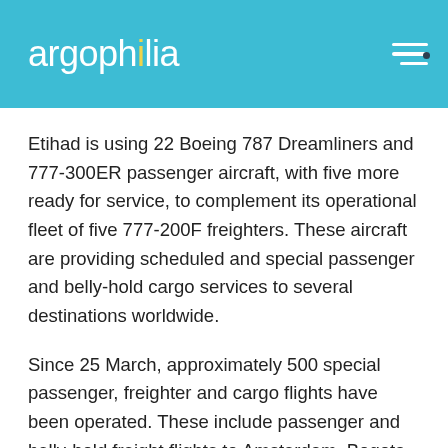argophilia
Etihad is using 22 Boeing 787 Dreamliners and 777-300ER passenger aircraft, with five more ready for service, to complement its operational fleet of five 777-200F freighters. These aircraft are providing scheduled and special passenger and belly-hold cargo services to several destinations worldwide.
Since 25 March, approximately 500 special passenger, freighter and cargo flights have been operated. These include passenger and belly-hold freight flights to Amsterdam, Bogota, Brussels, Dublin, Frankfurt, Jakarta, London Heathrow, Manila, Melbourne, Paris Charles de Gaulle, Seoul Incheon, Singapore, Tokyo Narita, Washington, D.C., and Zurich, with other destinations planned.